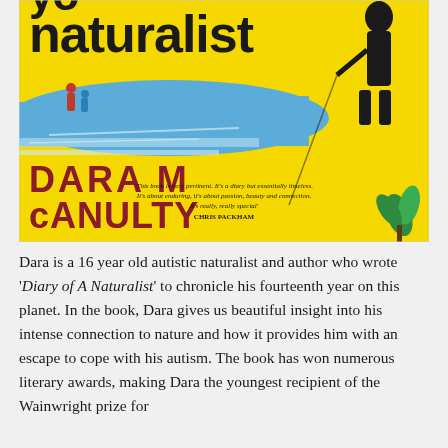[Figure (illustration): Book cover of 'Diary of A Young Naturalist' by Dara McAnulty. Yellow background with large black hand-lettered title text partly cut off at top, author name in large dark red uppercase letters, blue painted landscape stripe, small figures of people, silhouette of a person at top right, green plant at bottom right, and a quote from Chris Packham in italic script.]
Dara is a 16 year old autistic naturalist and author who wrote 'Diary of A Naturalist' to chronicle his fourteenth year on this planet. In the book, Dara gives us beautiful insight into his intense connection to nature and how it provides him with an escape to cope with his autism. The book has won numerous literary awards, making Dara the youngest recipient of the Wainwright prize for